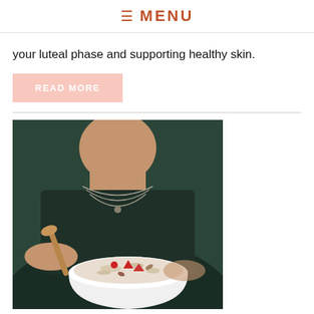≡ MENU
your luteal phase and supporting healthy skin.
READ MORE
[Figure (photo): Person in dark clothing wearing a layered necklace, holding a white bowl filled with oatmeal or granola topped with red fruit pieces and nuts, with a wooden spoon]